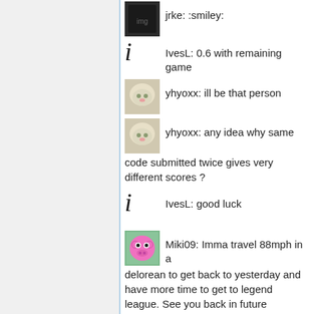jrke: :smiley:
IvesL: 0.6 with remaining game
yhyoxx: ill be that person
yhyoxx: any idea why same code submitted twice gives very different scores ?
IvesL: good luck
Miki09: Imma travel 88mph in a delorean to get back to yesterday and have more time to get to legend league. See you back in future